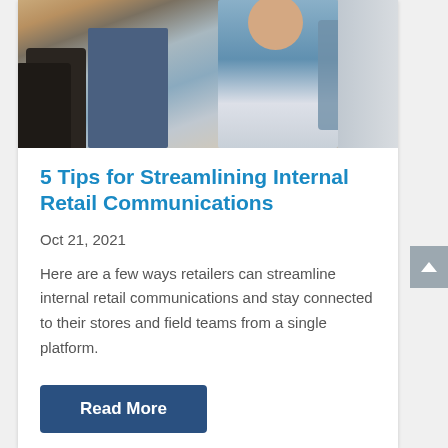[Figure (photo): Retail store scene showing a person examining a denim jacket, with boots and clothing in the background]
5 Tips for Streamlining Internal Retail Communications
Oct 21, 2021
Here are a few ways retailers can streamline internal retail communications and stay connected to their stores and field teams from a single platform.
Read More